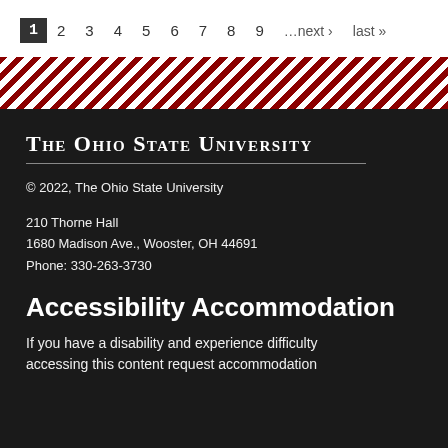1 2 3 4 5 6 7 8 9 …next › last »
[Figure (other): Diagonal red and white stripe divider banner]
The Ohio State University
© 2022, The Ohio State University
210 Thorne Hall
1680 Madison Ave., Wooster, OH 44691
Phone: 330-263-3730
Accessibility Accommodation
If you have a disability and experience difficulty accessing this content request accommodation